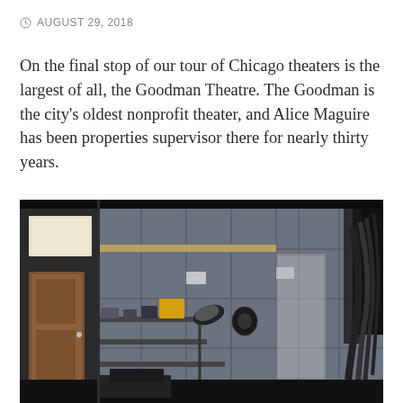AUGUST 29, 2018
On the final stop of our tour of Chicago theaters is the largest of all, the Goodman Theatre. The Goodman is the city’s oldest nonprofit theater, and Alice Maguire has been properties supervisor there for nearly thirty years.
[Figure (photo): Interior of the Goodman Theatre backstage area showing large grey paneled walls, a wooden door on the left, shelving with equipment and a lamp, cables hanging on the right side, and various backstage furniture and equipment in a dark industrial space.]